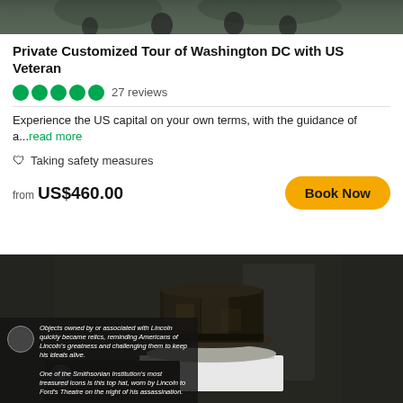[Figure (photo): Top banner photo of people at a Washington DC monument/memorial, partially cropped]
Private Customized Tour of Washington DC with US Veteran
27 reviews
Experience the US capital on your own terms, with the guidance of a...read more
Taking safety measures
from US$460.00
Book Now
[Figure (photo): Abraham Lincoln's black top hat displayed on a white pedestal in a museum exhibit]
Objects owned by or associated with Lincoln quickly became relics, reminding Americans of Lincoln's greatness and challenging them to keep his ideals alive. One of the Smithsonian Institution's most treasured icons is this top hat, worn by Lincoln to Ford's Theatre on the night of his assassination.